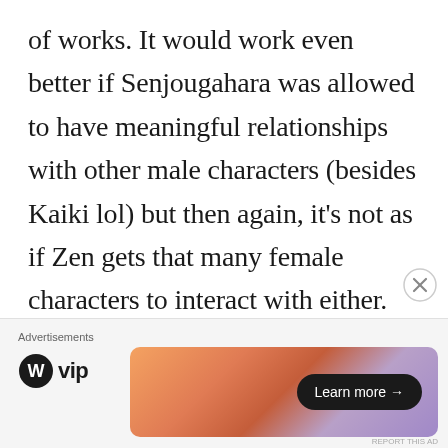of works. It would work even better if Senjougahara was allowed to have meaningful relationships with other male characters (besides Kaiki lol) but then again, it's not as if Zen gets that many female characters to interact with either.
The second season of Akagami takes the focus off the relationship and temporarily veers into “FANTASY
[Figure (other): Advertisement close button (X circle icon)]
Advertisements
[Figure (logo): WordPress VIP logo with W circle icon and 'vip' text]
[Figure (other): Advertisement banner with gradient orange-purple background and 'Learn more →' button]